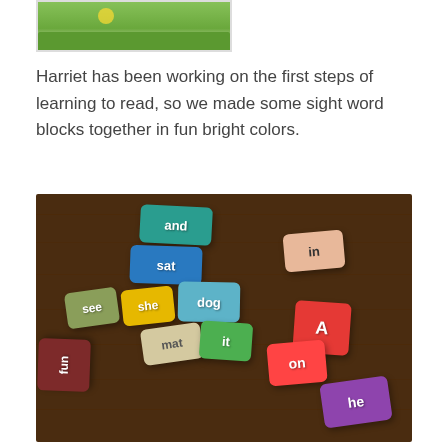[Figure (photo): Top portion of a framed picture showing green grass and flowers]
Harriet has been working on the first steps of learning to read, so we made some sight word blocks together in fun bright colors.
[Figure (photo): Colorful wooden sight word blocks arranged on a dark wood surface. Blocks show words: and, sat, see, she, dog, mat, it, fun, in, A, on, he — in various bright colors including teal, blue, green, yellow, peach, red, pink, purple, and maroon.]